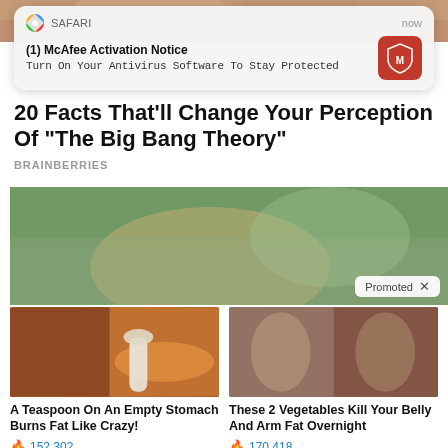[Figure (screenshot): Top portion of a webpage showing a person image at the top]
[Figure (screenshot): Safari browser push notification overlay: '(1) McAfee Activation Notice - Turn On Your Antivirus Software To Stay Protected' with McAfee red shield icon, timestamped 'now']
20 Facts That'll Change Your Perception Of "The Big Bang Theory"
BRAINBERRIES
[Figure (photo): Outdoor photo of a woman with dark hair looking up, trees in background, with 'Promoted X' badge overlay]
[Figure (photo): Ad image showing a muscular person and a spoon with spice/powder]
A Teaspoon On An Empty Stomach Burns Fat Like Crazy!
🔥 152,302
[Figure (photo): Ad image showing a woman's back before/after comparison in black swimwear]
These 2 Vegetables Kill Your Belly And Arm Fat Overnight
🔥 170,418